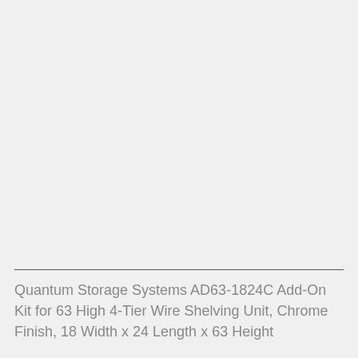Quantum Storage Systems AD63-1824C Add-On Kit for 63 High 4-Tier Wire Shelving Unit, Chrome Finish, 18 Width x 24 Length x 63 Height